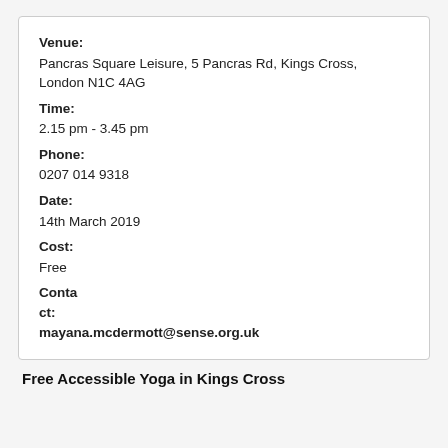Venue:
Pancras Square Leisure, 5 Pancras Rd, Kings Cross, London N1C 4AG
Time:
2.15 pm - 3.45 pm
Phone:
0207 014 9318
Date:
14th March 2019
Cost:
Free
Contact:
mayana.mcdermott@sense.org.uk
Free Accessible Yoga in Kings Cross